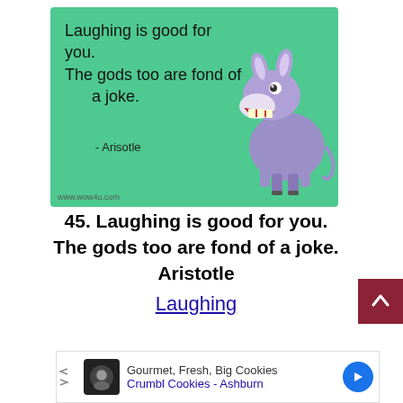[Figure (illustration): Green card with handwritten-style quote 'Laughing is good for you. The gods too are fond of a joke.' with a cartoon laughing donkey, attributed to Aristotle, watermark www.wow4u.com]
45. Laughing is good for you. The gods too are fond of a joke. Aristotle
Laughing
[Figure (other): Scroll-to-top button: dark red square with upward chevron]
[Figure (other): Advertisement banner: Gourmet, Fresh, Big Cookies - Crumbl Cookies - Ashburn]